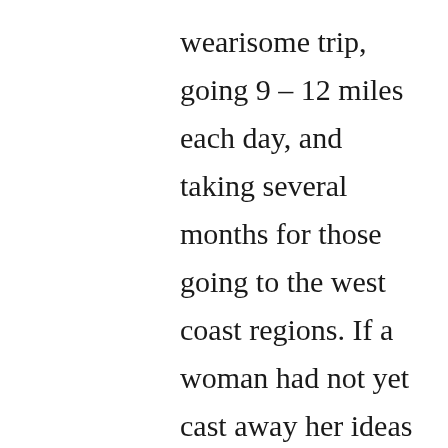wearisome trip, going 9 – 12 miles each day, and taking several months for those going to the west coast regions. If a woman had not yet cast away her ideas of what a proper nineteenth-century woman should do, she would quickly find she had no choice. Although her womanly skills of cooking, sewing, mending, and child care were as important as ever, she was soon pressed into such tasks as gathering wood or buffalo chips for